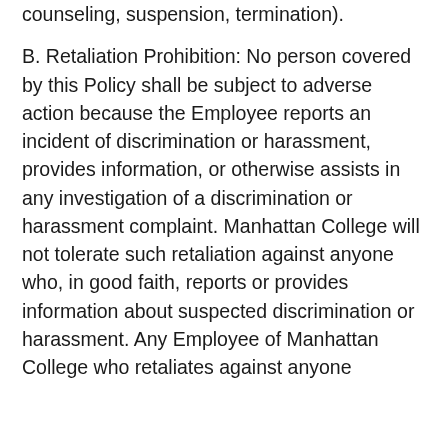counseling, suspension, termination).
B. Retaliation Prohibition: No person covered by this Policy shall be subject to adverse action because the Employee reports an incident of discrimination or harassment, provides information, or otherwise assists in any investigation of a discrimination or harassment complaint. Manhattan College will not tolerate such retaliation against anyone who, in good faith, reports or provides information about suspected discrimination or harassment. Any Employee of Manhattan College who retaliates against anyone